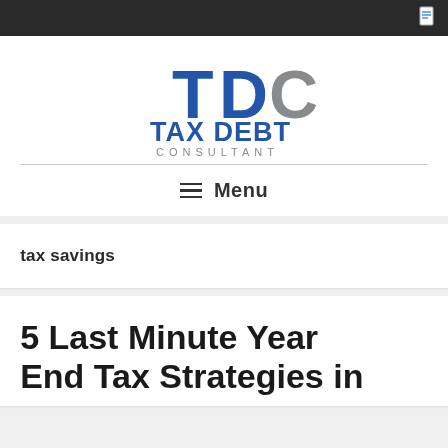[Figure (logo): TDC Tax Debt Consultant logo with blue and gray lettering]
Menu
tax savings
5 Last Minute Year End Tax Strategies in